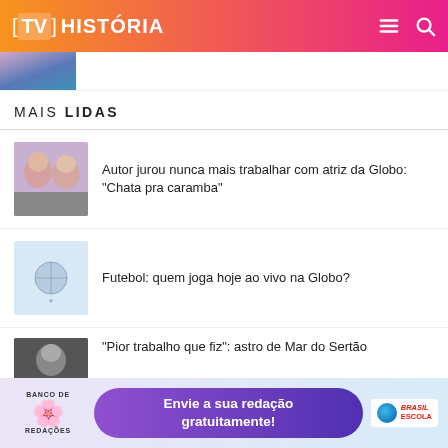[TV] HISTÓRIA
[Figure (photo): Partial view of a person's face/shoulder with blue top, cropped at top]
MAIS LIDAS
Autor jurou nunca mais trabalhar com atriz da Globo: "Chata pra caramba"
Futebol: quem joga hoje ao vivo na Globo?
"Pior trabalho que fiz": astro de Mar do Sertão
[Figure (photo): Two women smiling - thumbnail for article about Globo actress]
[Figure (photo): Light blue soccer/football thumbnail with small logo]
[Figure (photo): Man's face - thumbnail for Mar do Sertão article]
[Figure (advertisement): Banco de Redações ad banner: Envie a sua redação gratuitamente! with Brasil Escola logo]